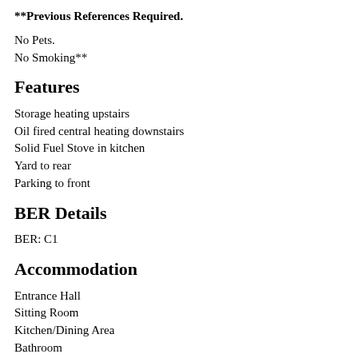**Previous References Required.
No Pets.
No Smoking**
Features
Storage heating upstairs
Oil fired central heating downstairs
Solid Fuel Stove in kitchen
Yard to rear
Parking to front
BER Details
BER: C1
Accommodation
Entrance Hall
Sitting Room
Kitchen/Dining Area
Bathroom